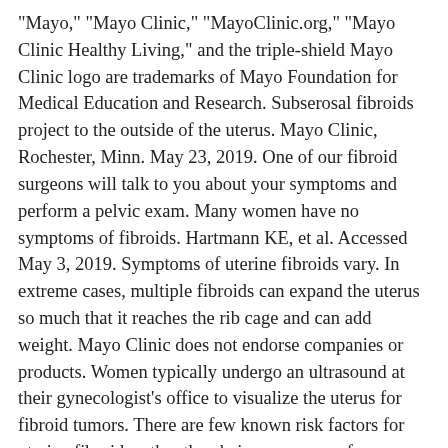"Mayo," "Mayo Clinic," "MayoClinic.org," "Mayo Clinic Healthy Living," and the triple-shield Mayo Clinic logo are trademarks of Mayo Foundation for Medical Education and Research. Subserosal fibroids project to the outside of the uterus. Mayo Clinic, Rochester, Minn. May 23, 2019. One of our fibroid surgeons will talk to you about your symptoms and perform a pelvic exam. Many women have no symptoms of fibroids. Hartmann KE, et al. Accessed May 3, 2019. Symptoms of uterine fibroids vary. In extreme cases, multiple fibroids can expand the uterus so much that it reaches the rib cage and can add weight. Mayo Clinic does not endorse companies or products. Women typically undergo an ultrasound at their gynecologist's office to visualize the uterus for fibroid tumors. There are few known risk factors for uterine fibroids, other than being a woman of reproductive age. https://www.acog.org/Clinical-Guidance-and-Publications/Committee-Opinions/Committee-on-Gynecologic-Practice/Uterine-Morcellation-for-Presumed-Leiomyomas. Intramural fibroids are noncancerous growths that develop between a woman's uterine muscles. increased … Also called leiomyomas (lie-o-my-O-muhs) or myomas, uterine fibroids aren't associated with an